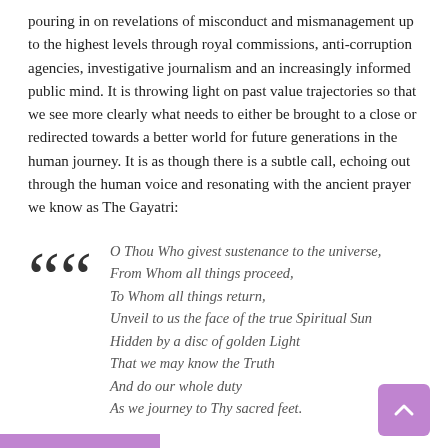pouring in on revelations of misconduct and mismanagement up to the highest levels through royal commissions, anti-corruption agencies, investigative journalism and an increasingly informed public mind. It is throwing light on past value trajectories so that we see more clearly what needs to either be brought to a close or redirected towards a better world for future generations in the human journey. It is as though there is a subtle call, echoing out through the human voice and resonating with the ancient prayer we know as The Gayatri:
O Thou Who givest sustenance to the universe,
From Whom all things proceed,
To Whom all things return,
Unveil to us the face of the true Spiritual Sun
Hidden by a disc of golden Light
That we may know the Truth
And do our whole duty
As we journey to Thy sacred feet.